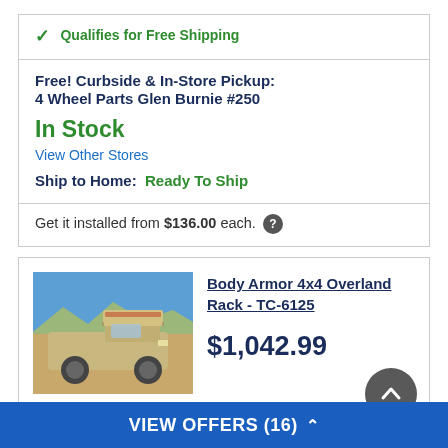✓ Qualifies for Free Shipping
Free! Curbside & In-Store Pickup:
4 Wheel Parts Glen Burnie #250
In Stock
View Other Stores
Ship to Home: Ready To Ship
Get it installed from $136.00 each. ?
Body Armor 4x4 Overland Rack - TC-6125
[Figure (photo): Photo of a beige/tan pickup truck with a rooftop tent on top, driving through a desert/rocky terrain landscape under a blue sky.]
$1,042.99
VIEW OFFERS (16) ^